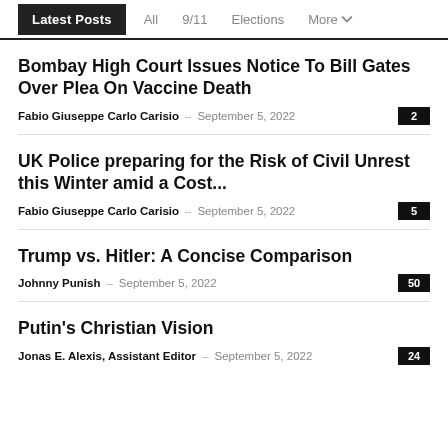Latest Posts | All | 9/11 | Elections | More
Bombay High Court Issues Notice To Bill Gates Over Plea On Vaccine Death
Fabio Giuseppe Carlo Carisio – September 5, 2022 [2 comments]
UK Police preparing for the Risk of Civil Unrest this Winter amid a Cost...
Fabio Giuseppe Carlo Carisio – September 5, 2022 [5 comments]
Trump vs. Hitler: A Concise Comparison
Johnny Punish – September 5, 2022 [50 comments]
Putin's Christian Vision
Jonas E. Alexis, Assistant Editor – September 5, 2022 [24 comments]